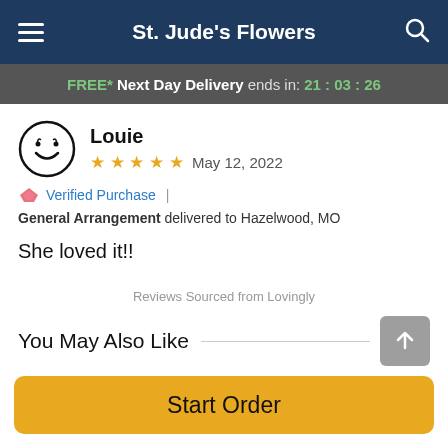St. Jude's Flowers
FREE* Next Day Delivery ends in: 21:03:26
Louie
★★★★★ May 12, 2022
Verified Purchase | General Arrangement delivered to Hazelwood, MO
She loved it!!
Reviews Sourced from Lovingly
You May Also Like
Start Order